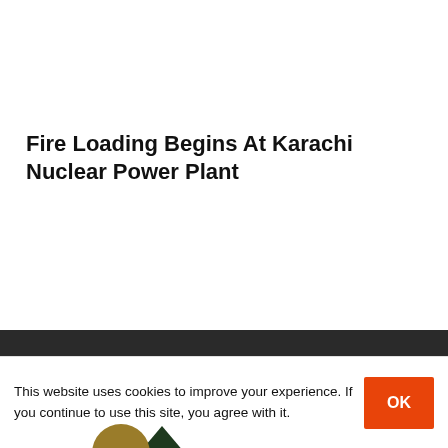Fire Loading Begins At Karachi Nuclear Power Plant
[Figure (screenshot): A carousel widget showing two news article thumbnails. Left panel (dark blue-grey background with olive circle and dark green triangle): 'Chinese Smartphone Companies Show Massive Uptick In 2021: Counterpoint'. Right panel (grey background): 'Samsung Galaxy Unpacked Event Scheduled for August 11'. Left and right navigation arrows are visible.]
This website uses cookies to improve your experience. If you continue to use this site, you agree with it.